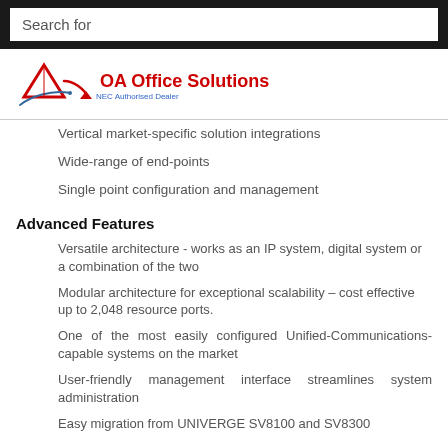[Figure (screenshot): Search bar with dark background and white input field reading 'Search for']
[Figure (logo): OA Office Solutions logo with red triangle/arrow graphic and red bold text 'OA Office Solutions' with blue subtitle]
Vertical market-specific solution integrations
Wide-range of end-points
Single point configuration and management
Advanced Features
Versatile architecture - works as an IP system, digital system or a combination of the two
Modular architecture for exceptional scalability – cost effective up to 2,048 resource ports.
One of the most easily configured Unified-Communications-capable systems on the market
User-friendly management interface streamlines system administration
Easy migration from UNIVERGE SV8100 and SV8300